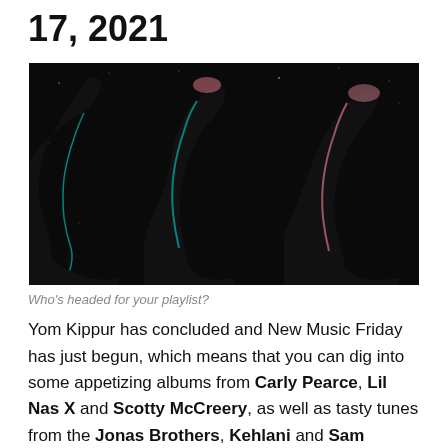17, 2021
[Figure (photo): Dark artistic photo showing three silhouetted profiles of people facing right, with faint glowing outlines in teal and pink against a black background.]
Who's headed for your playlist?
Yom Kippur has concluded and New Music Friday has just begun, which means that you can dig into some appetizing albums from Carly Pearce, Lil Nas X and Scotty McCreery, as well as tasty tunes from the Jonas Brothers, Kehlani and Sam Smith. Fill up below: